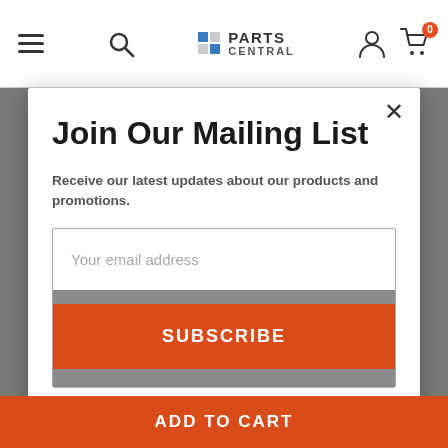[Figure (screenshot): Parts Central website navigation bar with hamburger menu, search icon, Parts Central logo, user account icon, and shopping cart with badge showing 0]
Join Our Mailing List
Receive our latest updates about our products and promotions.
Your email address
SUBSCRIBE
We promise to only send you good things
ADD TO CART